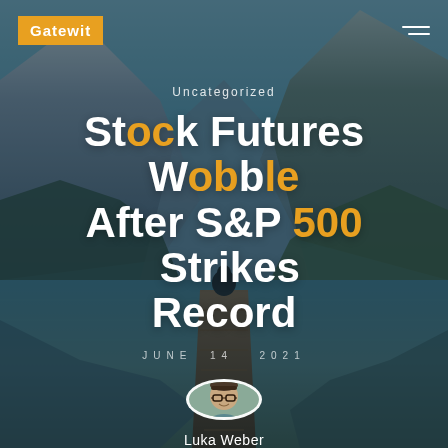Gatewit
Uncategorized
Stock Futures Wobble After S&P 500 Strikes Record
JUNE 14, 2021
[Figure (photo): Circular avatar photo of author Luka Weber, a young man with glasses and a hat]
Luka Weber